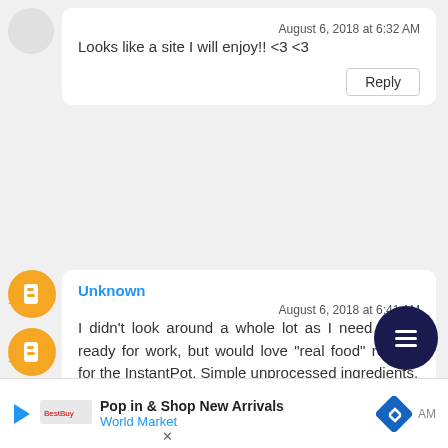Looks like a site I will enjoy!! <3 <3
August 6, 2018 at 6:32 AM
Reply
Unknown
August 6, 2018 at 6:41 AM
I didn't look around a whole lot as I need to get ready for work, but would love "real food" recipes for the InstantPot. Simple unprocessed ingredients.
Pop in & Shop New Arrivals
World Market